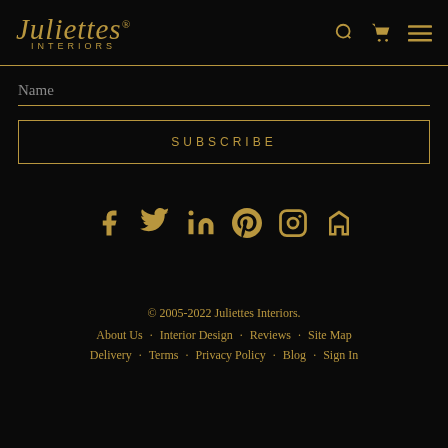[Figure (logo): Juliettes Interiors logo in gold script with INTERIORS below in small caps, with registered trademark symbol]
[Figure (infographic): Header navigation icons: search magnifying glass, shopping cart, hamburger menu — all in gold]
Name
SUBSCRIBE
[Figure (infographic): Social media icons row: Facebook, Twitter, LinkedIn, Pinterest, Instagram, Houzz — all in gold]
© 2005-2022 Juliettes Interiors.
About Us   Interior Design   Reviews   Site Map
Delivery   Terms   Privacy Policy   Blog   Sign In